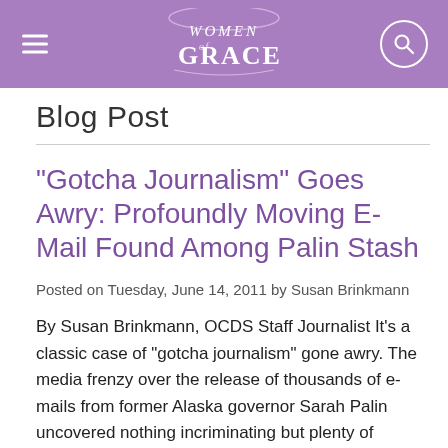Women of Grace
Blog Post
"Gotcha Journalism" Goes Awry: Profoundly Moving E-Mail Found Among Palin Stash
Posted on Tuesday, June 14, 2011 by Susan Brinkmann
By Susan Brinkmann, OCDS Staff Journalist It's a classic case of "gotcha journalism" gone awry. The media frenzy over the release of thousands of e-mails from former Alaska governor Sarah Palin uncovered nothing incriminating but plenty of evidence that she was a hard-working civil servant. And among the stash was